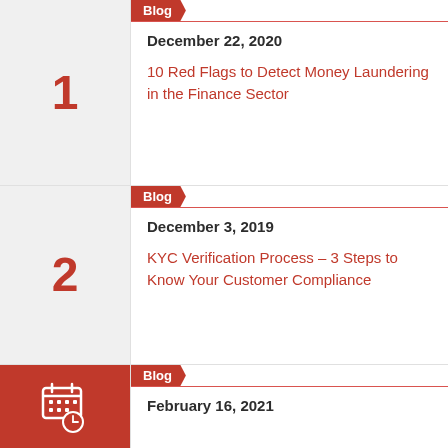1
Blog
December 22, 2020
10 Red Flags to Detect Money Laundering in the Finance Sector
2
Blog
December 3, 2019
KYC Verification Process – 3 Steps to Know Your Customer Compliance
Blog
February 16, 2021
KYC | Complete Guide to KYC Compliance &…